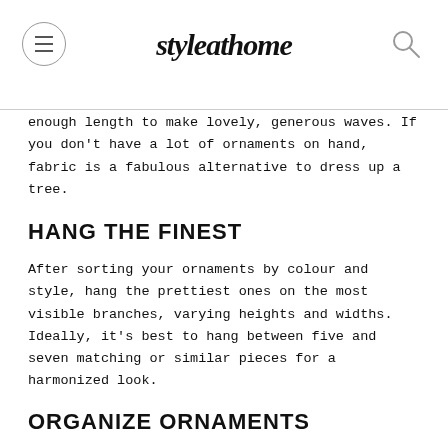styleathome
enough length to make lovely, generous waves. If you don't have a lot of ornaments on hand, fabric is a fabulous alternative to dress up a tree.
HANG THE FINEST
After sorting your ornaments by colour and style, hang the prettiest ones on the most visible branches, varying heights and widths. Ideally, it's best to hang between five and seven matching or similar pieces for a harmonized look.
ORGANIZE ORNAMENTS
Next, hang multiple, solid-coloured ornaments of varying sizes left and right, high and low, as if you were hanging them at the corners of an imaginary triangle. Short on ornaments? Depending on your theme, use other holiday items as well: old Christ-mas cards,